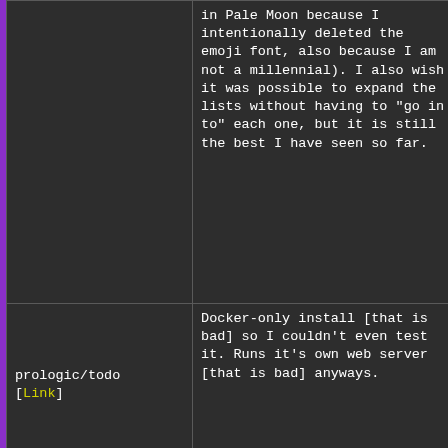|  | in Pale Moon because I intentionally deleted the emoji font, also because I am not a millennial). I also wish it was possible to expand the lists without having to "go in to" each one, but it is still the best I have seen so far. |
| prologic/todo [Link] | Docker-only install [that is bad] so I couldn't even test it. Runs it's own web server [that is bad] anyways. |
|  | I was a bit disappointed to find that the first install option is |